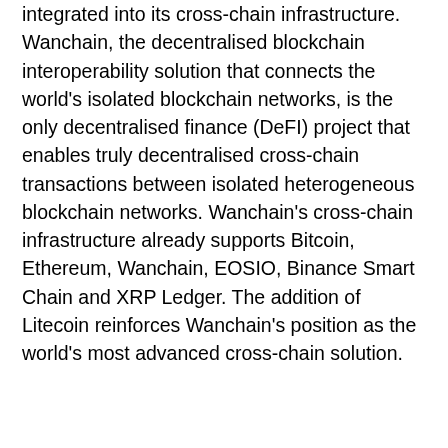integrated into its cross-chain infrastructure. Wanchain, the decentralised blockchain interoperability solution that connects the world's isolated blockchain networks, is the only decentralised finance (DeFI) project that enables truly decentralised cross-chain transactions between isolated heterogeneous blockchain networks. Wanchain's cross-chain infrastructure already supports Bitcoin, Ethereum, Wanchain, EOSIO, Binance Smart Chain and XRP Ledger. The addition of Litecoin reinforces Wanchain's position as the world's most advanced cross-chain solution.